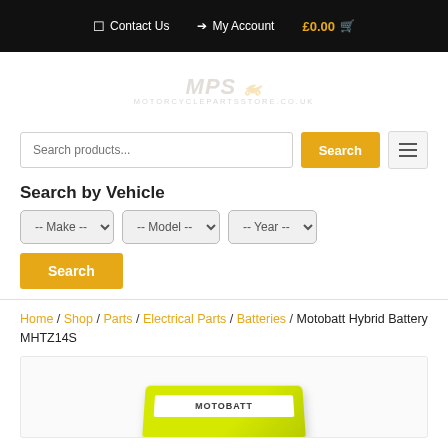Contact Us   My Account   £0.00
[Figure (logo): MPS Motorcycle Parts Store logo with stylized italic MPS text and motorcycle icon, text 'MOTORCYCLEPARTSSTORE.CO.UK' below]
Search products...
Search by Vehicle
-- Make --  -- Model --  -- Year --
Home / Shop / Parts / Electrical Parts / Batteries / Motobatt Hybrid Battery MHTZ14S
[Figure (photo): Motobatt Hybrid Battery MHTZ14S product image showing a yellow-green battery partially visible at the bottom of the frame]